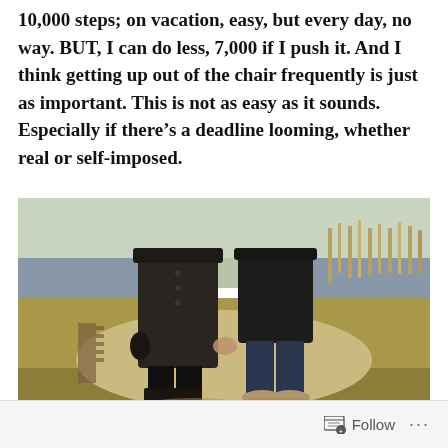10,000 steps; on vacation, easy, but every day, no way. BUT, I can do less, 7,000 if I push it. And I think getting up out of the chair frequently is just as important. This is not as easy as it sounds. Especially if there's a deadline looming, whether real or self-imposed.
[Figure (photo): Two people walking hand-in-hand on a path near water. The person on the left wears a long dark coat, black tights, and tall black boots. The person on the right wears dark jeans, a dark jacket, and tan shoes. Background shows a lake and dried reeds in winter sunlight.]
Follow ···